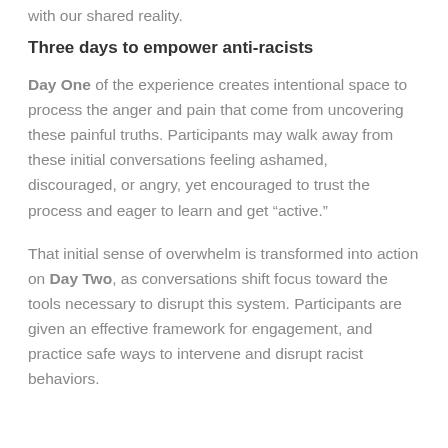with our shared reality.
Three days to empower anti-racists
Day One of the experience creates intentional space to process the anger and pain that come from uncovering these painful truths. Participants may walk away from these initial conversations feeling ashamed, discouraged, or angry, yet encouraged to trust the process and eager to learn and get “active.”
That initial sense of overwhelm is transformed into action on Day Two, as conversations shift focus toward the tools necessary to disrupt this system. Participants are given an effective framework for engagement, and practice safe ways to intervene and disrupt racist behaviors.